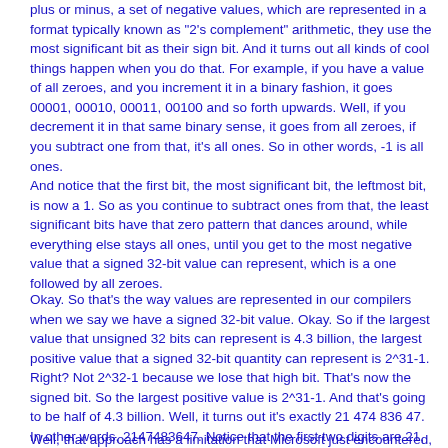plus or minus, a set of negative values, which are represented in a format typically known as "2's complement" arithmetic, they use the most significant bit as their sign bit. And it turns out all kinds of cool things happen when you do that. For example, if you have a value of all zeroes, and you increment it in a binary fashion, it goes 00001, 00010, 00011, 00100 and so forth upwards. Well, if you decrement it in that same binary sense, it goes from all zeroes, if you subtract one from that, it's all ones. So in other words, -1 is all ones.
And notice that the first bit, the most significant bit, the leftmost bit, is now a 1. So as you continue to subtract ones from that, the least significant bits have that zero pattern that dances around, while everything else stays all ones, until you get to the most negative value that a signed 32-bit value can represent, which is a one followed by all zeroes.
Okay. So that's the way values are represented in our compilers when we say we have a signed 32-bit value. Okay. So if the largest value that unsigned 32 bits can represent is 4.3 billion, the largest positive value that a signed 32-bit quantity can represent is 2^31-1. Right? Not 2^32-1 because we lose that high bit. That's now the signed bit. So the largest positive value is 2^31-1. And that's going to be half of 4.3 billion. Well, it turns out it's exactly 21 474 836 47. In other words, 2147483647. Notice that the first two digits are 21, as in 2021. It turns out that Microsoft uses the first two digits of the decimalized update's version, which is a signed 32-bit value, to denote the year the update was released; and that that version value is stored, as I said, as a 32-bit signed value.
Well, that approach has a limitation that Microsoft just encountered, since the largest value you can start a 32-bit signed integer with is 21